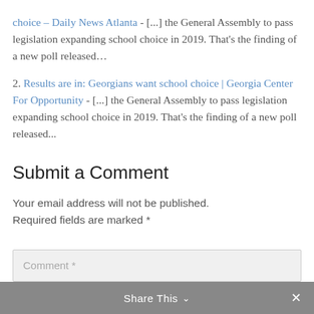choice – Daily News Atlanta - [...] the General Assembly to pass legislation expanding school choice in 2019. That's the finding of a new poll released…
2. Results are in: Georgians want school choice | Georgia Center For Opportunity - [...] the General Assembly to pass legislation expanding school choice in 2019. That's the finding of a new poll released...
Submit a Comment
Your email address will not be published. Required fields are marked *
Comment *
Share This ∨  ×